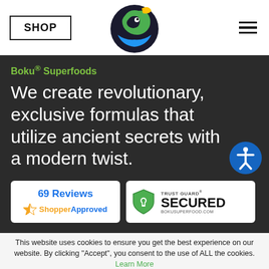SHOP | Boku Superfoods Logo | Navigation menu
[Figure (logo): Boku Superfoods circular logo with green, yellow, and blue bird/leaf design on dark circle]
Boku® Superfoods
We create revolutionary, exclusive formulas that utilize ancient secrets with a modern twist.
[Figure (infographic): 69 Reviews badge with ShopperApproved logo (orange star)]
[Figure (infographic): Trust Guard Secured badge with shield icon - BOKUSUPERFOOD.COM]
This website uses cookies to ensure you get the best experience on our website. By clicking "Accept", you consent to the use of ALL the cookies. Learn More
Accept